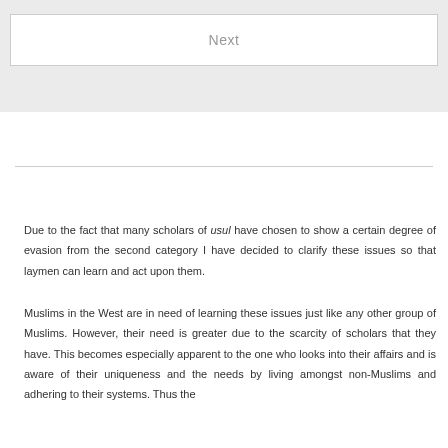[Figure (screenshot): UI element: a 'Next' button displayed on a light grey background area at the top of the page]
Due to the fact that many scholars of usul have chosen to show a certain degree of evasion from the second category I have decided to clarify these issues so that laymen can learn and act upon them.
Muslims in the West are in need of learning these issues just like any other group of Muslims. However, their need is greater due to the scarcity of scholars that they have. This becomes especially apparent to the one who looks into their affairs and is aware of their uniqueness and the needs by living amongst non-Muslims and adhering to their systems. Thus the